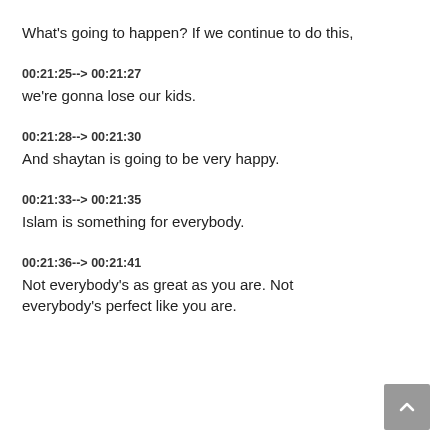What's going to happen? If we continue to do this,
00:21:25--> 00:21:27
we're gonna lose our kids.
00:21:28--> 00:21:30
And shaytan is going to be very happy.
00:21:33--> 00:21:35
Islam is something for everybody.
00:21:36--> 00:21:41
Not everybody's as great as you are. Not everybody's perfect like you are.